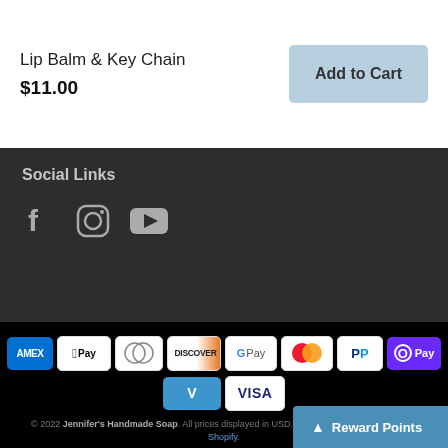Lip Balm & Key Chain
$11.00
Add to Cart
Social Links
[Figure (infographic): Social media icons: Facebook, Instagram, YouTube]
[Figure (infographic): Payment method badges: AMEX, Apple Pay, Diners Club, Discover, Google Pay, Mastercard, PayPal, OPay, Venmo, Visa]
© 2022 Jennifer's Handmade Soap. All prices displayed in USD. Checkout in USD. Powered by Shopify.
Reward Points